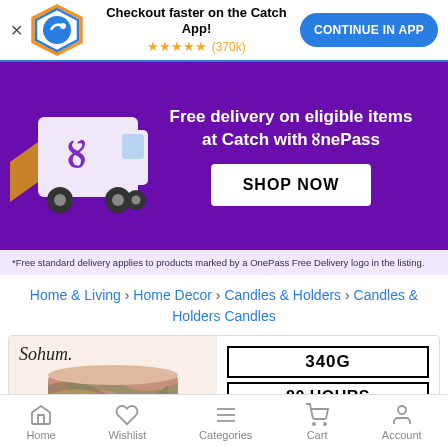[Figure (screenshot): Catch app banner with logo, star ratings, and Continue in App button]
[Figure (infographic): Purple promotional banner: Free delivery on eligible items at Catch with OnePass, with delivery truck image and SHOP NOW button]
*Free standard delivery applies to products marked by a OnePass Free Delivery logo in the listing.
Home & Living › Home Decor › Candles & Holders › Candles & Holders Candles
[Figure (photo): Sohum branded candle product with colorful marbled pattern, showing 340G and 80 HOURS BURN TIME labels]